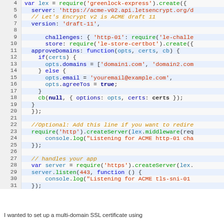[Figure (screenshot): Code editor screenshot showing JavaScript code snippet for setting up greenlock-express with Let's Encrypt SSL, lines 4-31. Includes highlighted alternate lines, syntax coloring for keywords, strings, comments, and function calls.]
I wanted to set up a multi-domain SSL certificate using